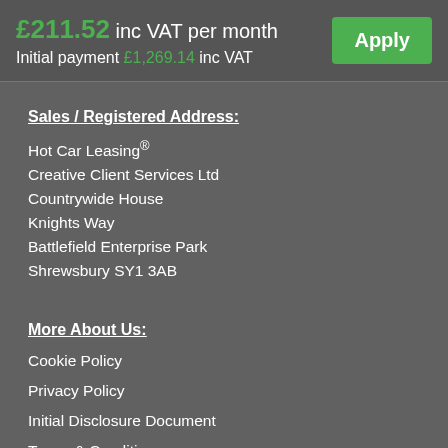£211.52 inc VAT per month
Initial payment £1,269.14 inc VAT
Apply
Sales / Registered Address:
Hot Car Leasing®
Creative Client Services Ltd
Countrywide House
Knights Way
Battlefield Enterprise Park
Shrewsbury SY1 3AB
More About Us:
Cookie Policy
Privacy Policy
Initial Disclosure Document
Terms & Conditions
Treating Customers Fairly
General Data Protection Regulation